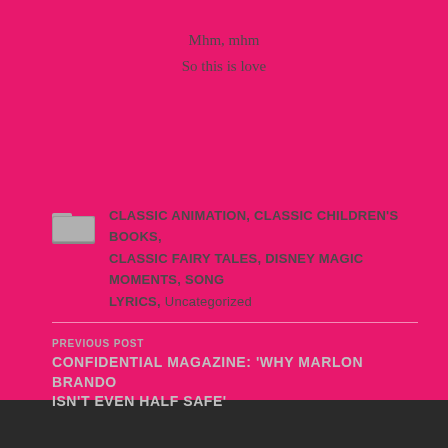Mhm, mhm
So this is love
CLASSIC ANIMATION, CLASSIC CHILDREN'S BOOKS, CLASSIC FAIRY TALES, DISNEY MAGIC MOMENTS, SONG LYRICS, Uncategorized
PREVIOUS POST
CONFIDENTIAL MAGAZINE: 'WHY MARLON BRANDO ISN'T EVEN HALF SAFE'
NEXT POST
YOSHU CHIKANOBU: WOOD-BLOCK PRINT MASTER (UKIYO-E)